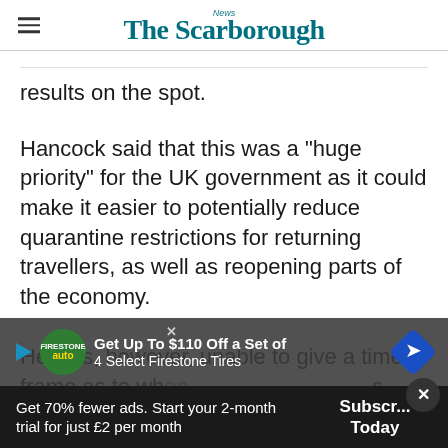The Scarborough News
results on the spot.
Hancock said that this was a "huge priority" for the UK government as it could make it easier to potentially reduce quarantine restrictions for returning travellers, as well as reopening parts of the economy.
He was, however, unable to give a time frame as to wh... s they haven't yet been proven to work.
[Figure (screenshot): Advertisement banner: Get Up To $110 Off a Set of 4 Select Firestone Tires, with auto logo and navigation sign icon]
Get 70% fewer ads. Start your 2-month trial for just £2 per month
Subscribe Today